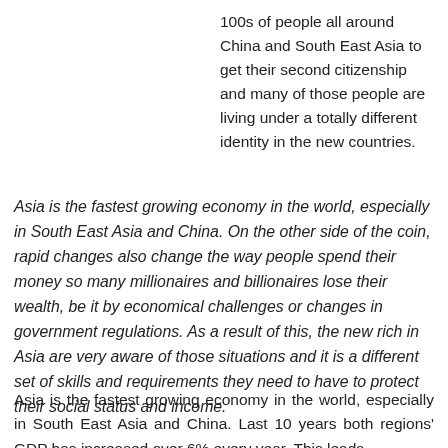100s of people all around China and South East Asia to get their second citizenship and many of those people are living under a totally different identity in the new countries.
Asia is the fastest growing economy in the world, especially in South East Asia and China. On the other side of the coin, rapid changes also change the way people spend their money so many millionaires and billionaires lose their wealth, be it by economical challenges or changes in government regulations. As a result of this, the new rich in Asia are very aware of those situations and it is a different set of skills and requirements they need to have to protect their social status and income.
Asia is the fastest growing economy in the world, especially in South East Asia and China. Last 10 years both regions' GDP has increased over 6% every year. This leads